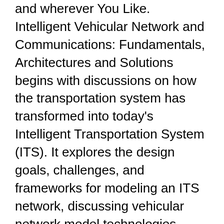and wherever You Like. Intelligent Vehicular Network and Communications: Fundamentals, Architectures and Solutions begins with discussions on how the transportation system has transformed into today's Intelligent Transportation System (ITS). It explores the design goals, challenges, and frameworks for modeling an ITS network, discussing vehicular network model technologies, mobility management architectures, and routing mechanisms and protocols. It looks at the Internet of Vehicles, the vehicular cloud, and vehicular network security and privacy issues. The book investigates cooperative vehicular systems, a promising solution for addressing current and future traffic safety needs, also exploring cooperative cognitive intelligence,